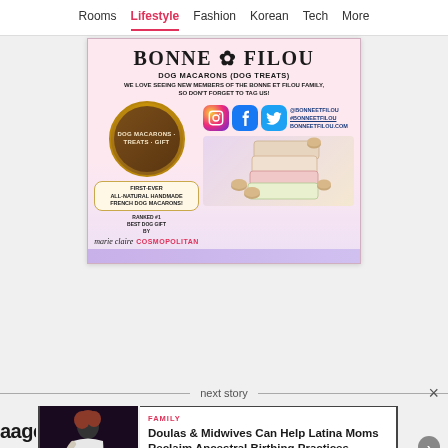Rooms | Lifestyle | Fashion | Korean | Tech | More
[Figure (advertisement): Bonne Filou dog macarons advertisement with pink background, dog photo, social media icons, and product images. Text includes: BONNE FILOU, DOG MACARONS (DOG TREATS), WE LOVE SEEING NEW MEMBERS OF THE BONNE ET FILOU FAMILY, SO DON'T FORGET TO TAG US!, @BONNEETFILOU, #BONNEETFILOU, BONNEETFILOU.COM, FIRST-EVER ALL-NATURAL HANDMADE FRENCH DOG MACARONS!, RANKED #1 BEST DOG GIFT BY marie claire COSMOPOLITAN]
next story
[Figure (photo): Dark background photo of a woman in a white dress, photo credit: melanie brown on unsplash]
FAMILY
Doulas & Midwives Can Help Latina Moms Reclaim Ancestral Birthing Practices
READ MORE > HipLATINA